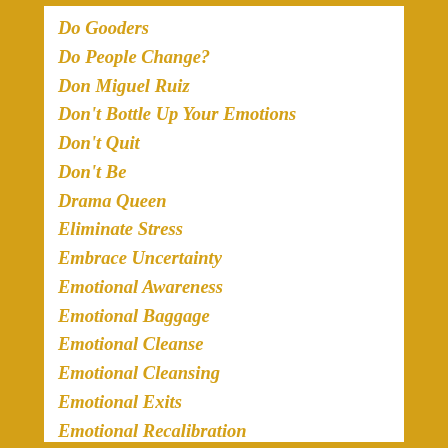Do Gooders
Do People Change?
Don Miguel Ruiz
Don't Bottle Up Your Emotions
Don't Quit
Don't Be
Drama Queen
Eliminate Stress
Embrace Uncertainty
Emotional Awareness
Emotional Baggage
Emotional Cleanse
Emotional Cleansing
Emotional Exits
Emotional Recalibration
Emotional Rollercoaster
Emotionally Unavailable
Emotions